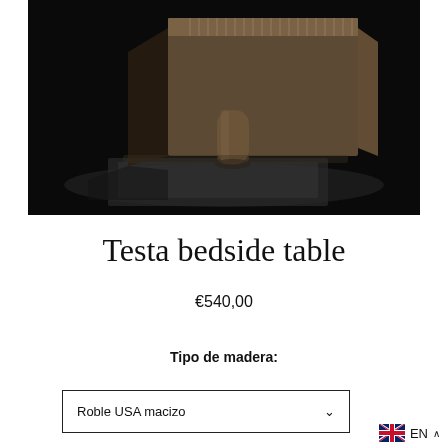[Figure (photo): Product photo of Testa bedside table – a wooden cube-shaped side table with vertical slat detailing on top, photographed dramatically against a near-black background with strong directional light revealing the wood grain and form. The table sits on a cylindrical leg/base on a light surface.]
Testa bedside table
€540,00
Tipo de madera:
Roble USA macizo
EN